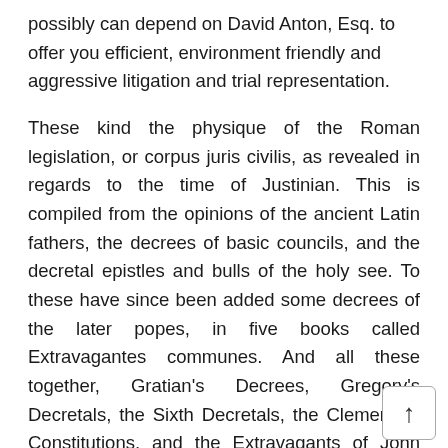possibly can depend on David Anton, Esq. to offer you efficient, environment friendly and aggressive litigation and trial representation.
These kind the physique of the Roman legislation, or corpus juris civilis, as revealed in regards to the time of Justinian. This is compiled from the opinions of the ancient Latin fathers, the decrees of basic councils, and the decretal epistles and bulls of the holy see. To these have since been added some decrees of the later popes, in five books called Extravagantes communes. And all these together, Gratian's Decrees, Gregory's Decretals, the Sixth Decretals, the Clementine Constitutions, and the Extravagants of John and his successors, type the Corpus juris canonici, or